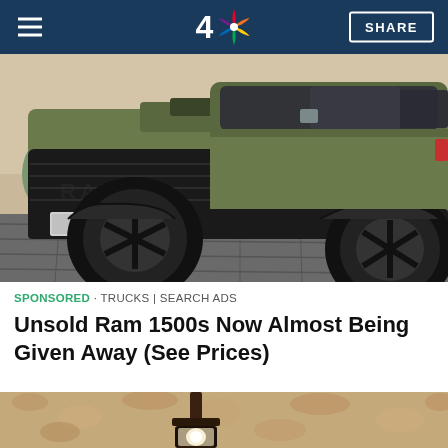NBC 4 | SHARE
[Figure (photo): A matte olive green Ram 1500 TRX pickup truck parked outside a building, front 3/4 view showing the bold grille with RAM lettering, large off-road tires, and lifted suspension.]
SPONSORED · TRUCKS | SEARCH ADS
Unsold Ram 1500s Now Almost Being Given Away (See Prices)
[Figure (photo): Close-up photo of a rustic outdoor wall lantern mounted on a textured stucco wall, partially visible at the bottom of the page.]